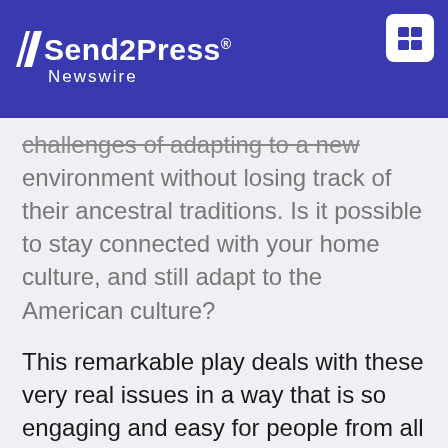Send2Press Newswire
challenges of adapting to a new environment without losing track of their ancestral traditions. Is it possible to stay connected with your home culture, and still adapt to the American culture?
This remarkable play deals with these very real issues in a way that is so engaging and easy for people from all walks of life to connect to.
Papa Jean is personally invested in this story, and he is the perfect spokesperson for people, especially those of Haitian and